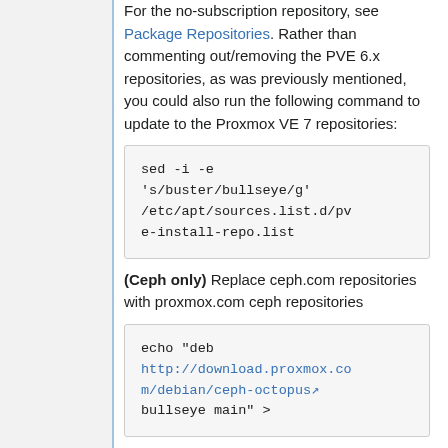For the no-subscription repository, see Package Repositories. Rather than commenting out/removing the PVE 6.x repositories, as was previously mentioned, you could also run the following command to update to the Proxmox VE 7 repositories:
sed -i -e 's/buster/bullseye/g' /etc/apt/sources.list.d/pve-install-repo.list
(Ceph only) Replace ceph.com repositories with proxmox.com ceph repositories
echo "deb http://download.proxmox.com/debian/ceph-octopus bullseye main" >